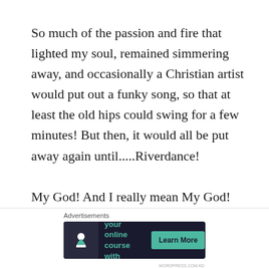So much of the passion and fire that lighted my soul, remained simmering away, and occasionally a Christian artist would put out a funky song, so that at least the old hips could swing for a few minutes! But then, it would all be put away again until.....Riverdance!

My God! And I really mean My God! When I saw that show on VIDEO, I thought I was going to
Advertisements
[Figure (infographic): Advertisement banner with dark navy background. Shows a tree/person icon on the left, green text reading 'Launch your online course with WordPress', and a 'Learn More' button.]